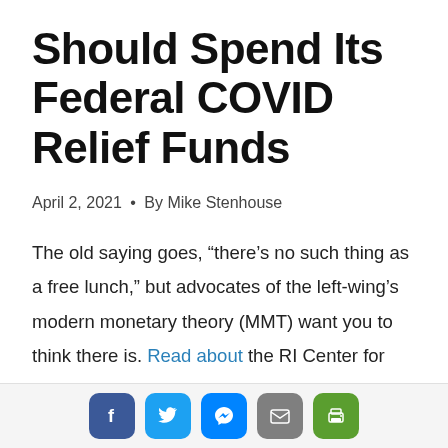Should Spend Its Federal COVID Relief Funds
April 2, 2021 • By Mike Stenhouse
The old saying goes, “there’s no such thing as a free lunch,” but advocates of the left-wing’s modern monetary theory (MMT) want you to think there is. Read about the RI Center for Freedom & Prosperity’s suggestions for use of